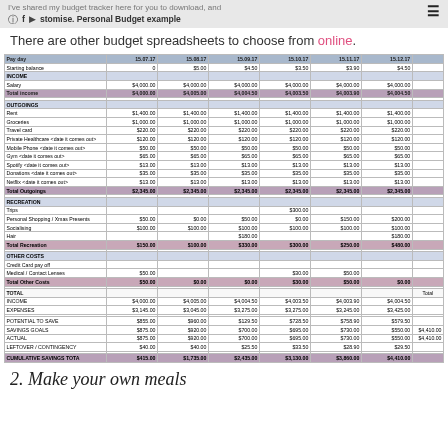I've shared my budget tracker here for you to download, and customise. Personal Budget example
There are other budget spreadsheets to choose from online.
| Pay day | 15.07.17 | 15.08.17 | 15.09.17 | 15.10.17 | 15.11.17 | 15.12.17 |  |
| --- | --- | --- | --- | --- | --- | --- | --- |
| Starting balance | 0 | $5.00 | $4.50 | $3.50 | $3.90 | $4.50 |  |
| INCOME |  |  |  |  |  |  |  |
| Salary | $4,000.00 | $4,000.00 | $4,000.00 | $4,000.00 | $4,000.00 | $4,000.00 |  |
| Total income | $4,000.00 | $4,005.00 | $4,004.50 | $4,003.50 | $4,003.90 | $4,004.50 |  |
|  |  |  |  |  |  |  |  |
| OUTGOINGS |  |  |  |  |  |  |  |
| Rent | $1,400.00 | $1,400.00 | $1,400.00 | $1,400.00 | $1,400.00 | $1,400.00 |  |
| Groceries | $1,000.00 | $1,000.00 | $1,000.00 | $1,000.00 | $1,000.00 | $1,000.00 |  |
| Travel card | $220.00 | $220.00 | $220.00 | $220.00 | $220.00 | $220.00 |  |
| Private Healthcare <date it comes out> | $120.00 | $120.00 | $120.00 | $120.00 | $120.00 | $120.00 |  |
| Mobile Phone <date it comes out> | $50.00 | $50.00 | $50.00 | $50.00 | $50.00 | $50.00 |  |
| Gym <date it comes out> | $65.00 | $65.00 | $65.00 | $65.00 | $65.00 | $65.00 |  |
| Spotify <date it comes out> | $13.00 | $13.00 | $13.00 | $13.00 | $13.00 | $13.00 |  |
| Donations <date it comes out> | $35.00 | $35.00 | $35.00 | $35.00 | $35.00 | $35.00 |  |
| Netflix <date it comes out> | $13.00 | $13.00 | $13.00 | $13.00 | $13.00 | $13.00 |  |
| Total Outgoings | $2,345.00 | $2,345.00 | $2,345.00 | $2,345.00 | $2,345.00 | $2,345.00 |  |
|  |  |  |  |  |  |  |  |
| RECREATION |  |  |  |  |  |  |  |
| Trips |  |  |  | $300.00 |  |  |  |
| Personal Shopping / Xmas Presents | $50.00 | $0.00 | $50.00 | $0.00 | $150.00 | $200.00 |  |
| Socialising | $100.00 | $100.00 | $100.00 | $100.00 | $100.00 | $100.00 |  |
| Hair |  |  | $180.00 |  |  | $180.00 |  |
| Total Recreation | $150.00 | $100.00 | $330.00 | $300.00 | $250.00 | $480.00 |  |
|  |  |  |  |  |  |  |  |
| OTHER COSTS |  |  |  |  |  |  |  |
| Credit Card pay off |  |  |  |  |  |  |  |
| Medical / Contact Lenses | $50.00 |  |  | $30.00 | $50.00 |  |  |
| Total Other Costs | $50.00 | $0.00 | $0.00 | $30.00 | $50.00 | $0.00 |  |
|  |  |  |  |  |  |  |  |
| TOTAL |  |  |  |  |  |  | Total |
| INCOME | $4,000.00 | $4,005.00 | $4,004.50 | $4,003.50 | $4,003.90 | $4,004.50 |  |
| EXPENSES | $3,145.00 | $3,045.00 | $3,275.00 | $3,275.00 | $3,245.00 | $3,425.00 |  |
|  |  |  |  |  |  |  |  |
| POTENTIAL TO SAVE | $855.00 | $960.00 | $129.50 | $728.50 | $758.90 | $579.50 |  |
| SAVINGS GOALS | $875.00 | $920.00 | $700.00 | $695.00 | $730.00 | $550.00 | $4,410.00 |
| ACTUAL | $875.00 | $920.00 | $700.00 | $695.00 | $730.00 | $550.00 | $4,410.00 |
| LEFTOVER / CONTINGENCY | $40.00 | $40.00 | $25.50 | $33.50 | $28.90 | $29.50 |  |
| CUMULATIVE SAVINGS TOTAL | $415.00 | $1,735.00 | $2,435.00 | $3,130.00 | $3,860.00 | $4,410.00 |  |
2. Make your own meals